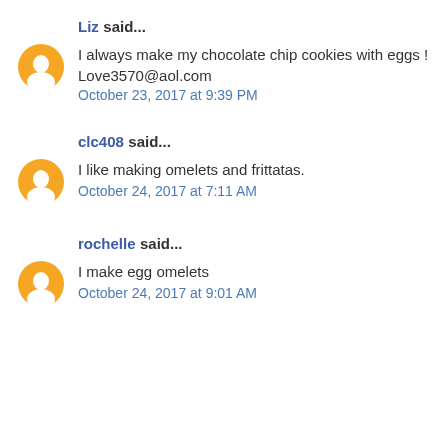Liz said...
I always make my chocolate chip cookies with eggs !
Love3570@aol.com
October 23, 2017 at 9:39 PM
clc408 said...
I like making omelets and frittatas.
October 24, 2017 at 7:11 AM
rochelle said...
I make egg omelets
October 24, 2017 at 9:01 AM